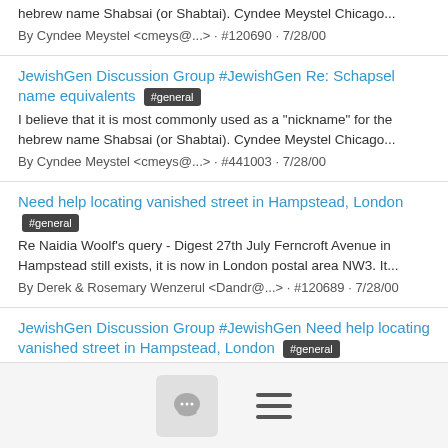hebrew name Shabsai (or Shabtai). Cyndee Meystel Chicago...
By Cyndee Meystel <cmeys@...> · #120690 · 7/28/00
JewishGen Discussion Group #JewishGen Re: Schapsel name equivalents #general
I believe that it is most commonly used as a "nickname" for the hebrew name Shabsai (or Shabtai). Cyndee Meystel Chicago...
By Cyndee Meystel <cmeys@...> · #441003 · 7/28/00
Need help locating vanished street in Hampstead, London #general
Re Naidia Woolf's query - Digest 27th July Ferncroft Avenue in Hampstead still exists, it is now in London postal area NW3. It...
By Derek & Rosemary Wenzerul <Dandr@...> · #120689 · 7/28/00
JewishGen Discussion Group #JewishGen Need help locating vanished street in Hampstead, London #general